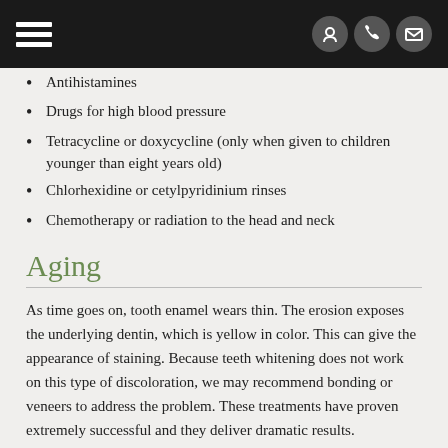[Navigation header with hamburger menu and contact icons]
Antihistamines
Drugs for high blood pressure
Tetracycline or doxycycline (only when given to children younger than eight years old)
Chlorhexidine or cetylpyridinium rinses
Chemotherapy or radiation to the head and neck
Aging
As time goes on, tooth enamel wears thin. The erosion exposes the underlying dentin, which is yellow in color. This can give the appearance of staining. Because teeth whitening does not work on this type of discoloration, we may recommend bonding or veneers to address the problem. These treatments have proven extremely successful and they deliver dramatic results.
Trauma or Injury
Chips or cracks not only weaken a tooth, but they can also make it more discolored. Furthermore, trauma sustained from automobile accidents,